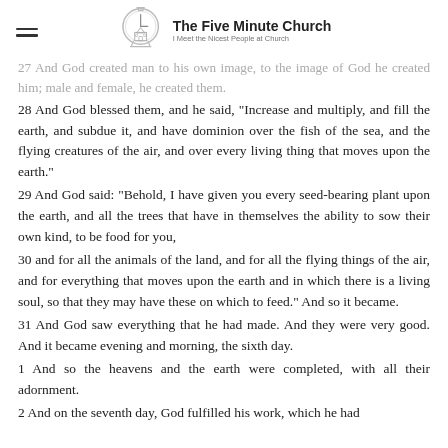The Five Minute Church | I Meet the Nicest People at Church
27 And God created man to his own image, to the image of God he created him; male and female, he created them.
28 And God blessed them, and he said, "Increase and multiply, and fill the earth, and subdue it, and have dominion over the fish of the sea, and the flying creatures of the air, and over every living thing that moves upon the earth."
29 And God said: "Behold, I have given you every seed-bearing plant upon the earth, and all the trees that have in themselves the ability to sow their own kind, to be food for you,
30 and for all the animals of the land, and for all the flying things of the air, and for everything that moves upon the earth and in which there is a living soul, so that they may have these on which to feed." And so it became.
31 And God saw everything that he had made. And they were very good. And it became evening and morning, the sixth day.
1 And so the heavens and the earth were completed, with all their adornment.
2 And on the seventh day, God fulfilled his work, which he had